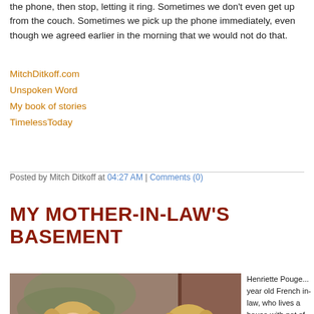the phone, then stop, letting it ring. Sometimes we don't even get up from the couch. Sometimes we pick up the phone immediately, even though we agreed earlier in the morning that we would not do that.
MitchDitkoff.com
Unspoken Word
My book of stories
TimelessToday
Posted by Mitch Ditkoff at 04:27 AM | Comments (0)
MY MOTHER-IN-LAW'S BASEMENT
[Figure (photo): Photo of three women with blonde hair smiling together, one older woman in the center]
Henriette Pouge... year old French in-law, who lives a house with not of place, is no lo able to navigate her own. Though she's be Germany, Luxem Martinique, and her basement is of bounds. Neith two daughters...